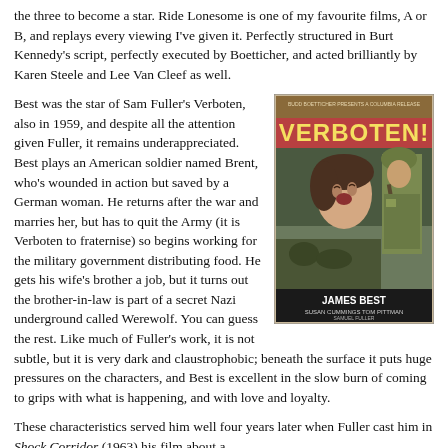the three to become a star. Ride Lonesome is one of my favourite films, A or B, and replays every viewing I've given it. Perfectly structured in Burt Kennedy's script, perfectly executed by Boetticher, and acted brilliantly by Karen Steele and Lee Van Cleef as well.
Best was the star of Sam Fuller's Verboten, also in 1959, and despite all the attention given Fuller, it remains underappreciated. Best plays an American soldier named Brent, who's wounded in action but saved by a German woman. He returns after the war and marries her, but has to quit the Army (it is Verboten to fraternise) so begins working for the military government distributing food. He gets his wife's brother a job, but it turns out the brother-in-law is part of a secret Nazi underground called Werewolf. You can guess the rest. Like much of Fuller's work, it is not subtle, but it is very dark and claustrophobic; beneath the surface it puts huge pressures on the characters, and Best is excellent in the slow burn of coming to grips with what is happening, and with love and loyalty.
[Figure (photo): Movie poster for Verboten! featuring a dramatic illustration of a woman and an American soldier, with the text 'VERBOTEN!' at the top and 'JAMES BEST' and 'SUSAN CUMMINGS' credits at the bottom.]
These characteristics served him well four years later when Fuller cast him in Shock Corridor (1963) his film about a...